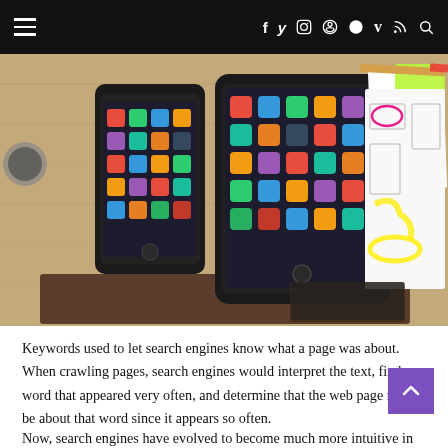≡  f  twitter  instagram  pinterest  snapchat  vimeo  rss  search
[Figure (photo): Overhead view of a wooden desk with a smartphone, tablet (iPad) showing app icons, and white wireframe/mockup papers with pink and yellow annotations, plus pencils and a green sticky note.]
Keywords used to let search engines know what a page was about. When crawling pages, search engines would interpret the text, find a word that appeared very often, and determine that the web page must be about that word since it appears so often.
Now, search engines have evolved to become much more intuitive in